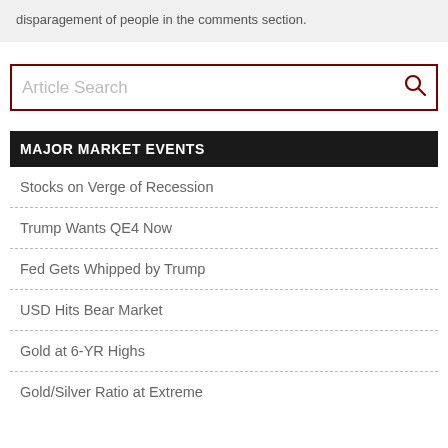disparagement of people in the comments section.
Article Search
MAJOR MARKET EVENTS
Stocks on Verge of Recession
Trump Wants QE4 Now
Fed Gets Whipped by Trump
USD Hits Bear Market
Gold at 6-YR Highs
Gold/Silver Ratio at Extreme